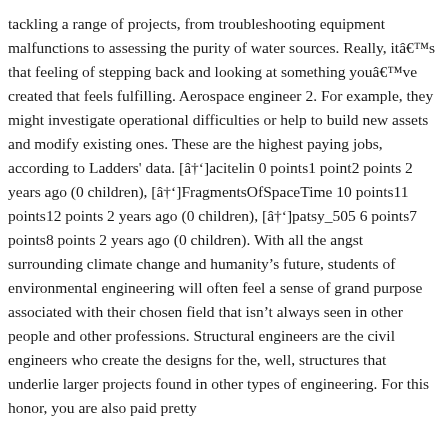tackling a range of projects, from troubleshooting equipment malfunctions to assessing the purity of water sources. Really, itâs that feeling of stepping back and looking at something youâve created that feels fulfilling. Aerospace engineer 2. For example, they might investigate operational difficulties or help to build new assets and modify existing ones. These are the highest paying jobs, according to Ladders' data. [â]acitelin 0 points1 point2 points 2 years ago (0 children), [â]FragmentsOfSpaceTime 10 points11 points12 points 2 years ago (0 children), [â]patsy_505 6 points7 points8 points 2 years ago (0 children). With all the angst surrounding climate change and humanity’s future, students of environmental engineering will often feel a sense of grand purpose associated with their chosen field that isn’t always seen in other people and other professions. Structural engineers are the civil engineers who create the designs for the, well, structures that underlie larger projects found in other types of engineering. For this honor, you are also paid pretty